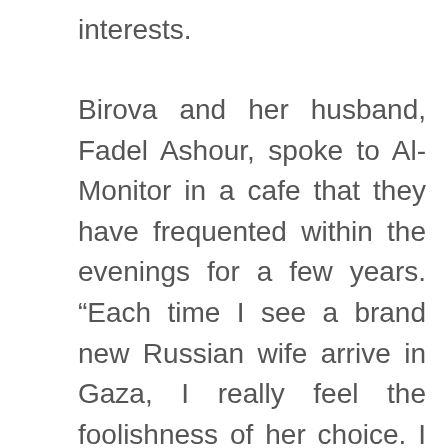interests.
Birova and her husband, Fadel Ashour, spoke to Al-Monitor in a cafe that they have frequented within the evenings for a few years. “Each time I see a brand new Russian wife arrive in Gaza, I really feel the foolishness of her choice. I think thaiflirting about the difficulties she is going to face, no matter her magnificence and her college diploma. Right here, Russian wives have no safety,” she stated.